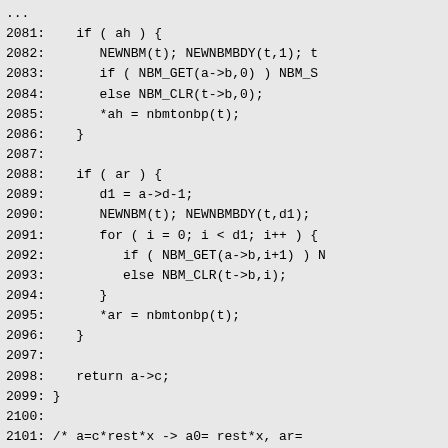Code listing lines 2081-2110 showing C source code for NBM/NBP operations including separate_tail_nbm function